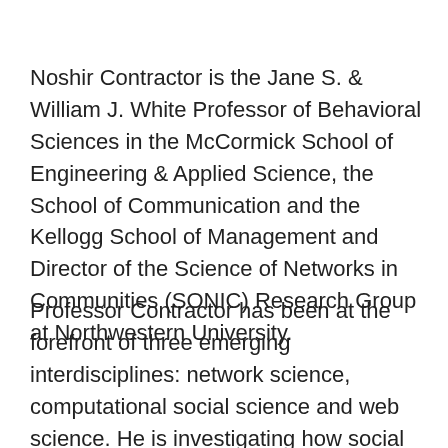Noshir Contractor is the Jane S. & William J. White Professor of Behavioral Sciences in the McCormick School of Engineering & Applied Science, the School of Communication and the Kellogg School of Management and Director of the Science of Networks in Communities (SONIC) Research Group at Northwestern University.
Professor Contractor has been at the forefront of three emerging interdisciplines: network science, computational social science and web science. He is investigating how social and knowledge networks form – and perform – in contexts